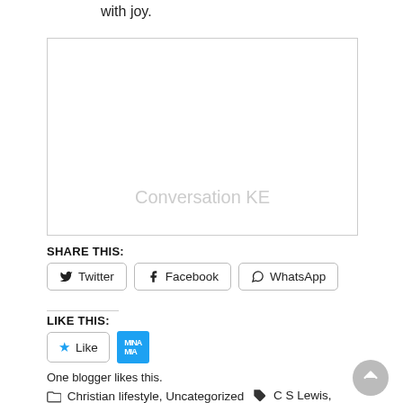with joy.
[Figure (other): Embedded content box labeled 'Conversation KE']
SHARE THIS:
Twitter  Facebook  WhatsApp
LIKE THIS:
One blogger likes this.
Christian lifestyle, Uncategorized   C S Lewis,